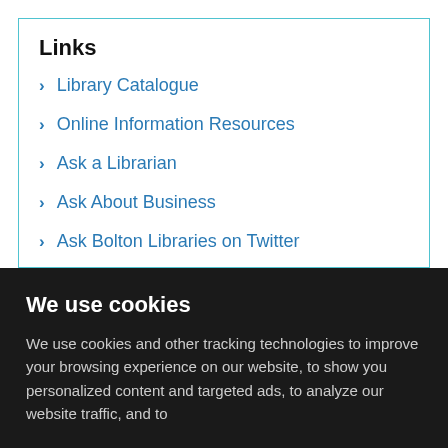Links
Library Catalogue
Online Information Resources
Ask a Librarian
Ask About Business
Ask Bolton Libraries on Twitter
We use cookies
We use cookies and other tracking technologies to improve your browsing experience on our website, to show you personalized content and targeted ads, to analyze our website traffic, and to